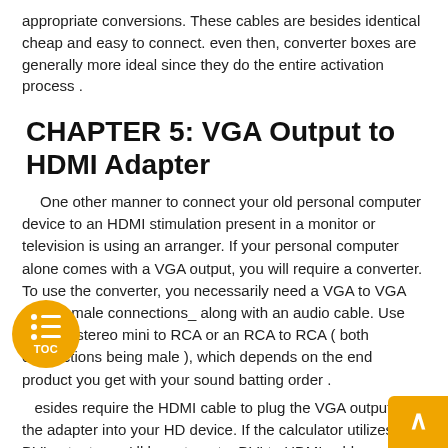appropriate conversions. These cables are besides identical cheap and easy to connect. even then, converter boxes are generally more ideal since they do the entire activation process .
CHAPTER 5: VGA Output to HDMI Adapter
One other manner to connect your old personal computer device to an HDMI stimulation present in a monitor or television is using an arranger. If your personal computer alone comes with a VGA output, you will require a converter. To use the converter, you necessarily need a VGA to VGA cable ( male connections_ along with an audio cable. Use either a stereo mini to RCA or an RCA to RCA ( both connections being male ), which depends on the end product you get with your sound batting order .
Besides require the HDMI cable to plug the VGA output to the adapter into your HD device. If the calculator utilizes a DVI output, you ' ll have to get a DVI to HDMI cable, or else you can get a DVI to HDMI arranger along with a unconstipated HDMI cable . These options are typically more qualify if person has a notebook and does not have the built-in converters with them HDMI...